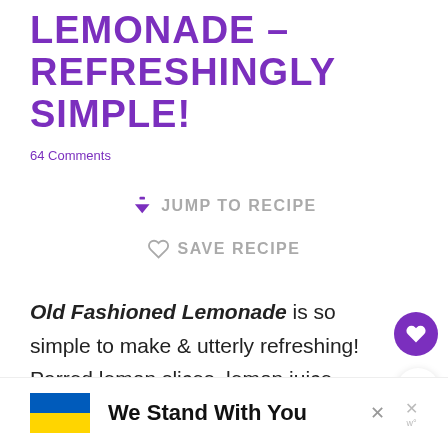LEMONADE – REFRESHINGLY SIMPLE!
64 Comments
JUMP TO RECIPE
SAVE RECIPE
Old Fashioned Lemonade is so simple to make & utterly refreshing! Parred lemon slices, lemon juice, sugar and water are all you need to make this traditional thirst quenching drink!.
[Figure (infographic): Ukraine flag banner ad with text 'We Stand With You' and close buttons]